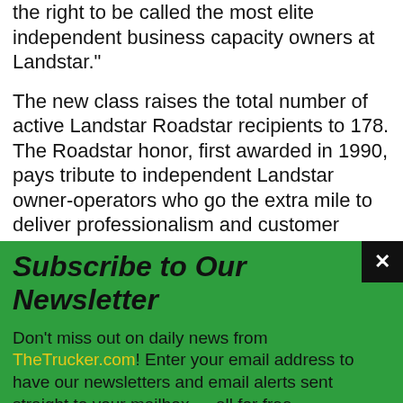the right to be called the most elite independent business capacity owners at Landstar."
The new class raises the total number of active Landstar Roadstar recipients to 178. The Roadstar honor, first awarded in 1990, pays tribute to independent Landstar owner-operators who go the extra mile to deliver professionalism and customer service on a daily basis.
To be eligible for the honor, a Roadstar nominee must:
[Figure (other): Newsletter subscription overlay on green background with title 'Subscribe to Our Newsletter', body text referencing TheTrucker.com, email input field, Submit button, close X button, and privacy note.]